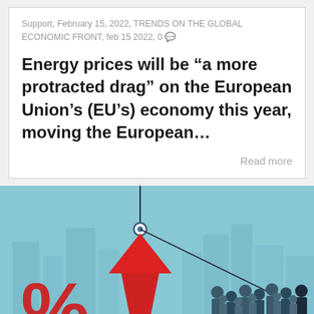Support, February 15, 2022, TRENDS ON THE GLOBAL ECONOMIC FRONT, feb 15 2022, 0
Energy prices will be “a more protracted drag” on the European Union’s (EU’s) economy this year, moving the European…
Read more
[Figure (illustration): Illustration of a clock pendulum mechanism attached to a red upward arrow, with silhouetted city buildings in the background and a crowd of silhouetted people on the right side, on a light blue background. Large red percentage symbol visible at the bottom left.]